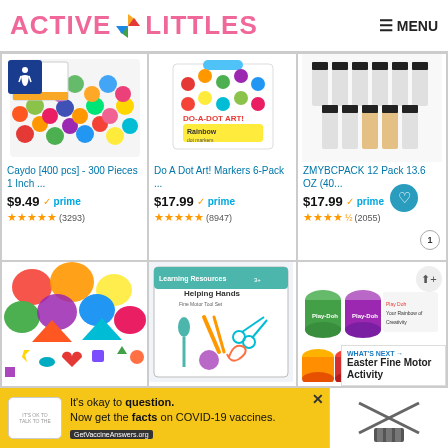ACTIVE LITTLES — MENU
[Figure (screenshot): Product grid card 1: Caydo 400 pcs colorful pom poms craft supply with accessibility icon overlay]
Caydo [400 pcs] - 300 Pieces 1 Inch ...
$9.49 prime ★★★★★ (3293)
[Figure (screenshot): Product grid card 2: Do A Dot Art! Markers 6-Pack Rainbow set in box]
Do A Dot Art! Markers 6-Pack ...
$17.99 prime ★★★★★ (8947)
[Figure (screenshot): Product grid card 3: ZMYBCPACK 12 Pack 13.6 OZ bottles]
ZMYBCPACK 12 Pack 13.6 OZ (40...
$17.99 prime ★★★★☆ (2055)
[Figure (screenshot): Product grid card 4: Colorful foam confetti shapes]
[Figure (screenshot): Product grid card 5: Helping Hands fine motor tool set]
[Figure (screenshot): Product grid card 6: Play-Doh cans with What's Next overlay: Easter Fine Motor Activity]
WHAT'S NEXT → Easter Fine Motor Activity
It's okay to question. Now get the facts on COVID-19 vaccines. GetVaccineAnswers.org